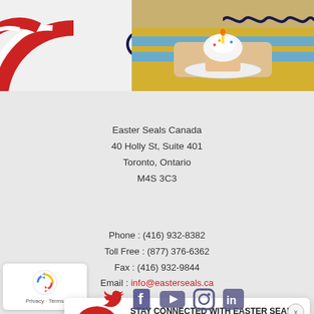[Figure (photo): Top banner with decorative elements: red bullseye/concentric circles on left, red plus sign, dark circle outline, photo of person holding cupcake on a plate (striped shirt), dark wavy line on top right]
Easter Seals Canada
40 Holly St, Suite 401
Toronto, Ontario
M4S 3C3
Phone : (416) 932-8382
Toll Free : (877) 376-6362
Fax : (416) 932-9844
Email : info@easterseals.ca
[Figure (infographic): White newsletter signup popup card with red circular icon (newsletter/document icon), title STAY CONNECTED WITH EASTER SEALS, body text Click here to sign up for our e-newsletter », close X button]
[Figure (infographic): Bottom row: reCAPTCHA privacy widget (white box with reCAPTCHA logo, Privacy - Terms text), Twitter bird icon, Facebook, YouTube, Instagram, LinkedIn social media icons]